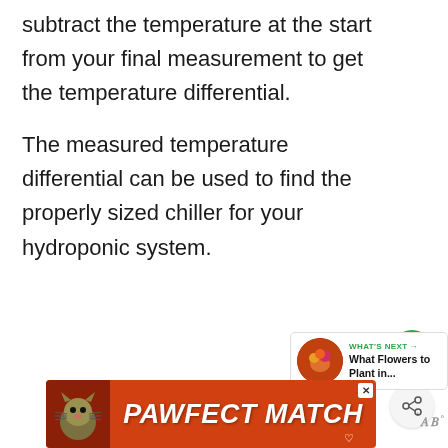subtract the temperature at the start from your final measurement to get the temperature differential.
The measured temperature differential can be used to find the properly sized chiller for your hydroponic system.
[Figure (other): Green circular heart/favorite button and a light gray circular share button on the right side of the page]
[Figure (other): What's Next panel showing a flower image thumbnail with text 'WHAT'S NEXT → What Flowers to Plant in...']
[Figure (other): Advertisement banner with orange-red background showing a cat image on left and bold italic text 'PAWFECT MATCH' in white]